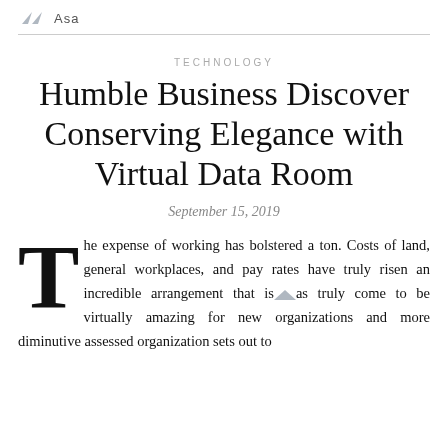Asa
TECHNOLOGY
Humble Business Discover Conserving Elegance with Virtual Data Room
September 15, 2019
The expense of working has bolstered a ton. Costs of land, general workplaces, and pay rates have truly risen an incredible arrangement that is has truly come to be virtually amazing for new organizations and more diminutive assessed organization sets out to